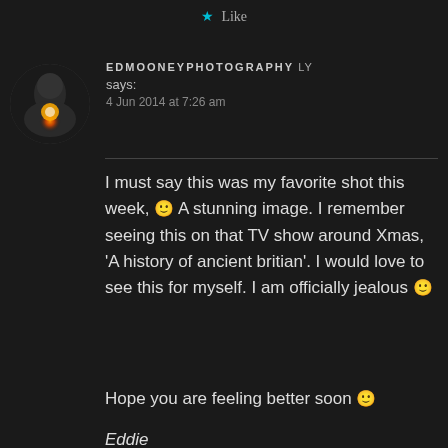★ Like
[Figure (photo): Circular avatar photo of a person in a dark hoodie holding a glowing orange light in their hands against a dark background]
EDMOONEYPHOTOGRAPHY says:
4 Jun 2014 at 7:26 am
I must say this was my favorite shot this week, 🙂 A stunning image. I remember seeing this on that TV show around Xmas, 'A history of ancient britian'. I would love to see this for myself. I am officially jealous 🙂
Hope you are feeling better soon 🙂
Eddie